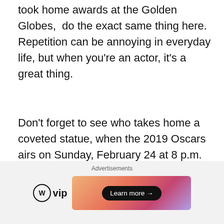took home awards at the Golden Globes, do the exact same thing here. Repetition can be annoying in everyday life, but when you're an actor, it's a great thing.
Don't forget to see who takes home a coveted statue, when the 2019 Oscars airs on Sunday, February 24 at 8 p.m. EST on ABC.
Share this:
[Figure (other): Social share buttons: Twitter, Facebook, Reddit, Email, Pinterest, Print, LinkedIn, Tumblr]
[Figure (other): Advertisements section with WordPress VIP logo and a colorful ad banner with Learn more button]